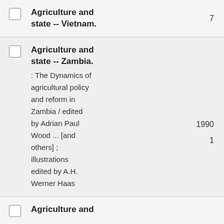Agriculture and state -- Vietnam.	7
Agriculture and state -- Zambia.
1990
: The Dynamics of agricultural policy and reform in Zambia / edited by Adrian Paul Wood ... [and others] ; illustrations edited by A.H. Werner Haas
1
Agriculture and